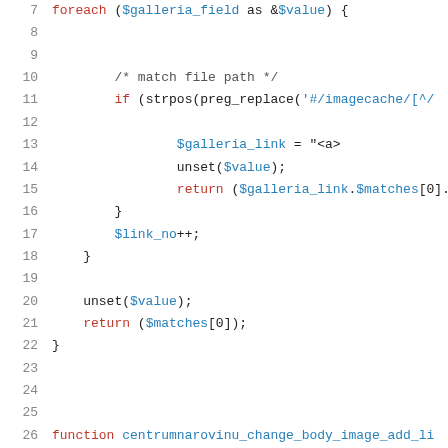[Figure (screenshot): Code snippet showing PHP function with foreach loop, if statement, return statements, and function definition. Lines 7-29 visible.]